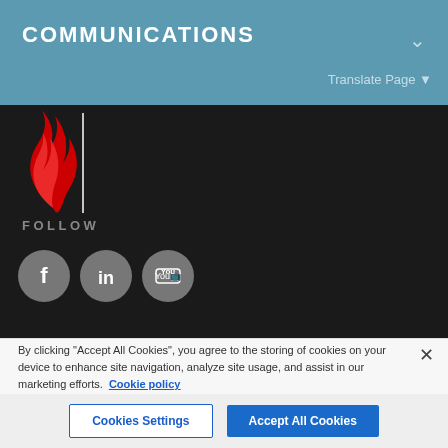COMMUNICATIONS
Translate Page ▼
[Figure (logo): Red flame logo with vertical white line divider on dark background]
FOLLOW
[Figure (illustration): Three social media icon circles: Facebook (f), LinkedIn (in), YouTube (You)]
By clicking "Accept All Cookies", you agree to the storing of cookies on your device to enhance site navigation, analyze site usage, and assist in our marketing efforts. Cookie policy
Cookies Settings | Accept All Cookies